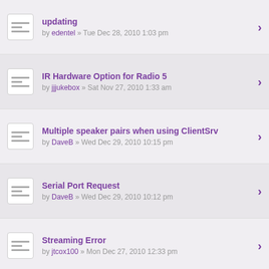updating
by edentel » Tue Dec 28, 2010 1:03 pm
IR Hardware Option for Radio 5
by jjjukebox » Sat Nov 27, 2010 1:33 am
Multiple speaker pairs when using ClientSrv
by DaveB » Wed Dec 29, 2010 10:15 pm
Serial Port Request
by DaveB » Wed Dec 29, 2010 10:12 pm
Streaming Error
by jtcox100 » Mon Dec 27, 2010 12:33 pm
Russound ST2-XM support?
by edentel » Tue Dec 28, 2010 11:54 am